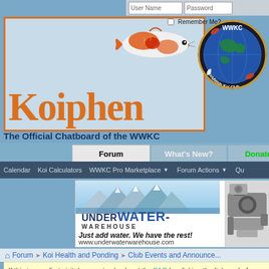User Name | Password
[Figure (logo): Koiphen logo with orange text on light blue background with orange border, koi fish illustration above]
[Figure (logo): WorldWide Koi Club (WWKC) circular logo with globe and koi fish]
The Official Chatboard of the WWKC
Forum | What's New? | Donate
Calendar   Koi Calculators   WWKC Pro Marketplace ▼   Forum Actions ▼   Qu...
[Figure (screenshot): Underwater Warehouse advertisement banner - Just add water. We have the rest! www.underwaterwarehouse.com]
Forum ➤ Koi Health and Ponding ➤ Club Events and Announce...
If this is your first visit, be sure to check out the FAQ by clicking the link a... before you can post: click the register link above to proceed. To start view... you want to visit from the selection below.
Announcement: Terms of Service and Copyright Notice
Carl (Supporting Member)